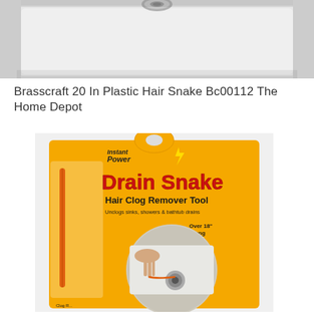[Figure (photo): Top portion of a white bathtub/sink basin with a chrome drain stopper visible at the top center, showing the inside of the basin from close up.]
Brasscraft 20 In Plastic Hair Snake Bc00112 The Home Depot
[Figure (photo): Product packaging photo of Instant Power Drain Snake Hair Clog Remover Tool on a yellow card package. Package shows the orange plastic drain snake coiled, with text: Drain Snake, Hair Clog Remover Tool, Unclogs sinks, showers & bathtub drains, Over 18 long. A circular inset image shows a hand using the drain snake in a bathtub drain.]